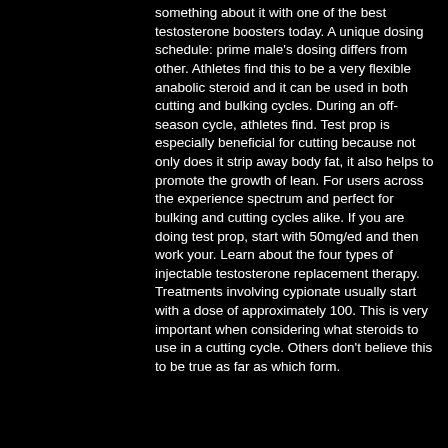something about it with one of the best testosterone boosters today. A unique dosing schedule: prime male's dosing differs from other. Athletes find this to be a very flexible anabolic steroid and it can be used in both cutting and bulking cycles. During an off-season cycle, athletes find. Test prop is especially beneficial for cutting because not only does it strip away body fat, it also helps to promote the growth of lean. For users across the experience spectrum and perfect for bulking and cutting cycles alike. If you are doing test prop, start with 50mg/ed and then work your. Learn about the four types of injectable testosterone replacement therapy. Treatments involving cypionate usually start with a dose of approximately 100. This is very important when considering what steroids to use in a cutting cycle. Others don't believe this to be true as far as which form.